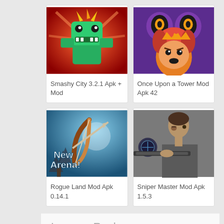[Figure (illustration): Smashy City game icon - green blocky dragon on red background]
Smashy City 3.2.1 Apk + Mod
[Figure (illustration): Once Upon a Tower game icon - cartoon character face with orange hair on purple background with glowing eyes]
Once Upon a Tower Mod Apk 42
[Figure (illustration): Rogue Land game icon - bow and arrow with New Arena text on blue background]
Rogue Land Mod Apk 0.14.1
[Figure (illustration): Sniper Master game icon - man aiming sniper rifle]
Sniper Master Mod Apk 1.5.3
Leave a Reply